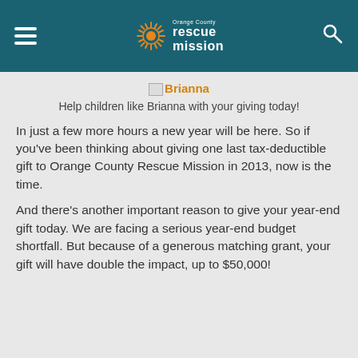Orange County Rescue Mission
[Figure (logo): Brianna image placeholder with orange text 'Brianna']
Help children like Brianna with your giving today!
In just a few more hours a new year will be here. So if you've been thinking about giving one last tax-deductible gift to Orange County Rescue Mission in 2013, now is the time.
And there's another important reason to give your year-end gift today. We are facing a serious year-end budget shortfall. But because of a generous matching grant, your gift will have double the impact, up to $50,000!